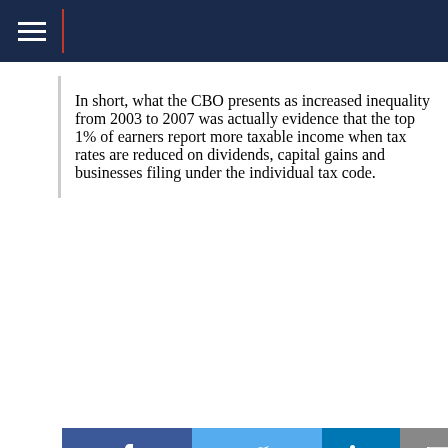In short, what the CBO presents as increased inequality from 2003 to 2007 was actually evidence that the top 1% of earners report more taxable income when tax rates are reduced on dividends, capital gains and businesses filing under the individual tax code.
[Figure (other): Social sharing buttons: Facebook (f), Twitter (bird icon), LinkedIn (in), Email (envelope icon)]